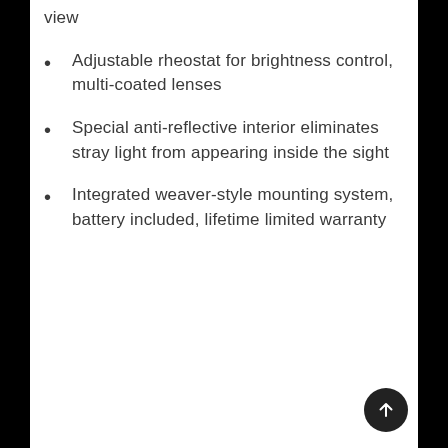view
Adjustable rheostat for brightness control, multi-coated lenses
Special anti-reflective interior eliminates stray light from appearing inside the sight
Integrated weaver-style mounting system, battery included, lifetime limited warranty